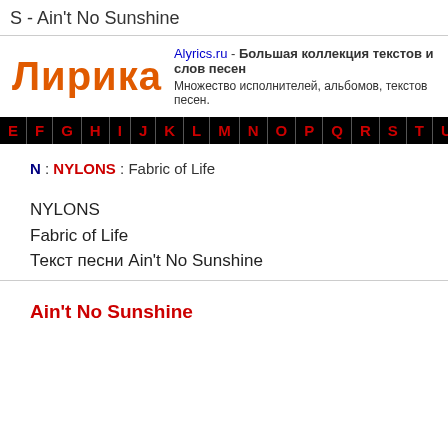S - Ain't No Sunshine
[Figure (logo): Лирика logo in orange bold text with site info: Alyrics.ru - Большая коллекция текстов и слов песен. Множество исполнителей, альбомов, текстов песен.]
E F G H I J K L M N O P Q R S T U V
N : NYLONS : Fabric of Life
NYLONS
Fabric of Life
Текст песни Ain't No Sunshine
Ain't No Sunshine